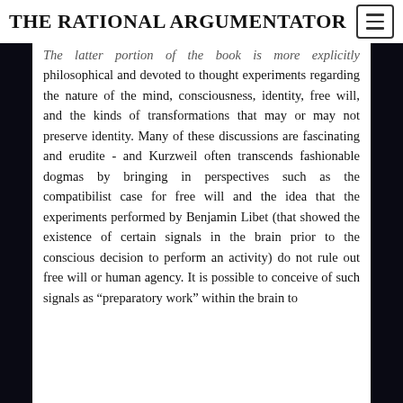THE RATIONAL ARGUMENTATOR
The latter portion of the book is more explicitly philosophical and devoted to thought experiments regarding the nature of the mind, consciousness, identity, free will, and the kinds of transformations that may or may not preserve identity. Many of these discussions are fascinating and erudite - and Kurzweil often transcends fashionable dogmas by bringing in perspectives such as the compatibilist case for free will and the idea that the experiments performed by Benjamin Libet (that showed the existence of certain signals in the brain prior to the conscious decision to perform an activity) do not rule out free will or human agency. It is possible to conceive of such signals as “preparatory work” within the brain to